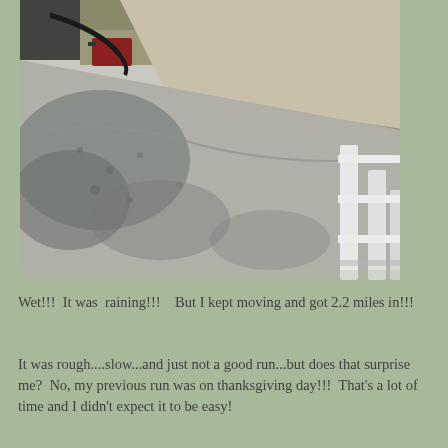[Figure (photo): Outdoor photo showing wet concrete steps/driveway with dark moisture stains, white fence posts/railing visible on the right, grass and a red piece of equipment in the upper left background. The scene appears rainy or recently rained upon.]
Wet!!!  It was  raining!!!   But I kept moving and got 2.2 miles in!!!
It was rough....slow...and just not a good run...but does that surprise me?  No, my previous run was on thanksgiving day!!!  That's a lot of time and I didn't expect it to be easy!